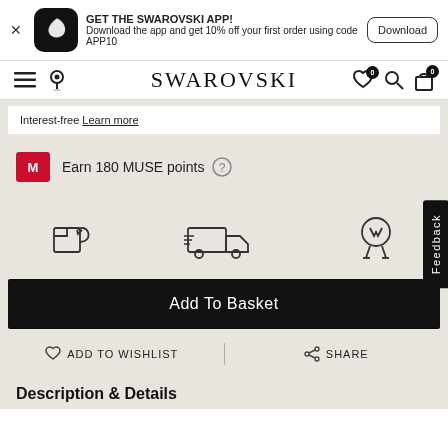GET THE SWAROVSKI APP! Download the app and get 10% off your first order using code APP10 | Download
SWAROVSKI
Interest-free Learn more
M  Earn 180 MUSE points
[Figure (illustration): Three icons: returns box, fast delivery truck, quality award badge]
Add To Basket
ADD TO WISHLIST  |  SHARE
Description & Details